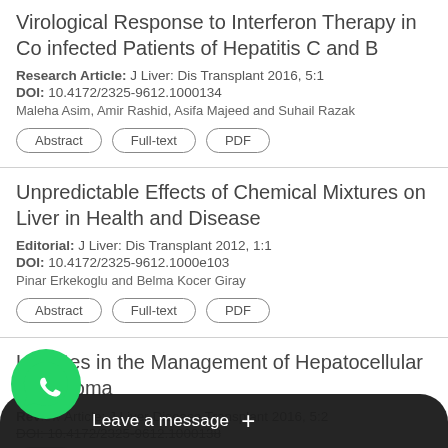Virological Response to Interferon Therapy in Co infected Patients of Hepatitis C and B
Research Article: J Liver: Dis Transplant 2016, 5:1
DOI: 10.4172/2325-9612.1000134
Maleha Asim, Amir Rashid, Asifa Majeed and Suhail Razak
Unpredictable Effects of Chemical Mixtures on Liver in Health and Disease
Editorial: J Liver: Dis Transplant 2012, 1:1
DOI: 10.4172/2325-9612.1000e103
Pinar Erkekoglu and Belma Kocer Giray
Updates in the Management of Hepatocellular Carcinoma
Review Article: J Liver Disease Transplant 2016, 5:2
DOI: 10.4172/2325-9612.1000138
[Figure (screenshot): WhatsApp Leave a message overlay with green WhatsApp icon and dark banner]